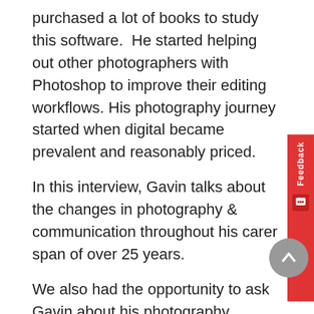purchased a lot of books to study this software.  He started helping out other photographers with Photoshop to improve their editing workflows. His photography journey started when digital became prevalent and reasonably priced.
In this interview, Gavin talks about the changes in photography & communication throughout his career span of over 25 years.
We also had the opportunity to ask Gavin about his photography product StudioMagic, which is loved by our customers on PhotoWhoa.com. It's one of our sellers so you should definitely get your hands on it. Don't believe us? You can have a look at its reviews.
You can also check out some other exciting deals